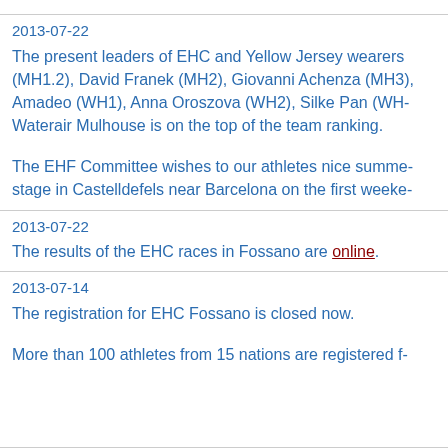2013-07-22
The present leaders of EHC and Yellow Jersey wearers (MH1.2), David Franek (MH2), Giovanni Achenza (MH3), Amadeo (WH1), Anna Oroszova (WH2), Silke Pan (WH...) Waterair Mulhouse is on the top of the team ranking.
The EHF Committee wishes to our athletes nice summer stage in Castelldefels near Barcelona on the first weeke...
2013-07-22
The results of the EHC races in Fossano are online.
2013-07-14
The registration for EHC Fossano is closed now.
More than 100 athletes from 15 nations are registered f...